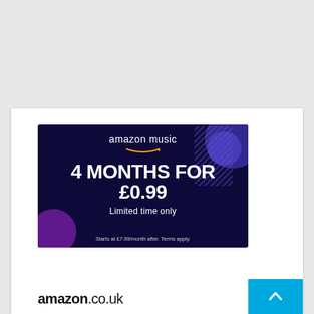[Figure (illustration): Amazon Music advertisement banner: dark navy/purple background with decorative circles and stripe patterns. Shows 'amazon music' logo with arrow/smile, large white bold text '4 MONTHS FOR £0.99', subtitle 'Limited time only', and small print 'Starts at £7.99/month after. Terms apply.']
amazon.co.uk